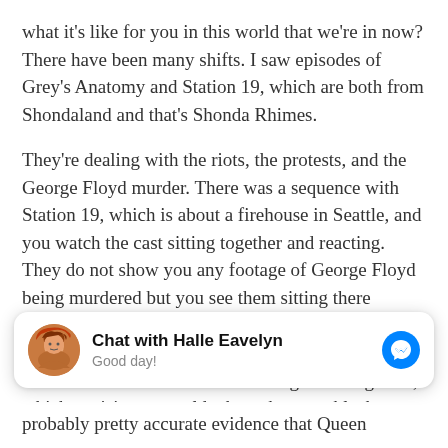what it's like for you in this world that we're in now? There have been many shifts. I saw episodes of Grey's Anatomy and Station 19, which are both from Shondaland and that's Shonda Rhimes.
They're dealing with the riots, the protests, and the George Floyd murder. There was a sequence with Station 19, which is about a firehouse in Seattle, and you watch the cast sitting together and reacting. They do not show you any footage of George Floyd being murdered but you see them sitting there watching in shock and agony as they go through it. It was a powerful choice. Shondaland has also been in the news a lot because of the casting for Bridgerton, which envisions a world where there are black
[Figure (screenshot): Facebook Messenger chat widget showing 'Chat with Halle Eavelyn' with avatar photo of a woman with red hair, and a blue messenger icon. Subtitle reads 'Good day!']
probably pretty accurate evidence that Queen